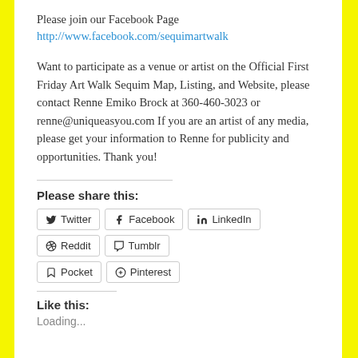Please join our Facebook Page
http://www.facebook.com/sequimartwalk
Want to participate as a venue or artist on the Official First Friday Art Walk Sequim Map, Listing, and Website, please contact Renne Emiko Brock at 360-460-3023 or renne@uniqueasyou.com If you are an artist of any media, please get your information to Renne for publicity and opportunities. Thank you!
Please share this:
Twitter | Facebook | LinkedIn | Reddit | Tumblr | Pocket | Pinterest
Like this:
Loading...